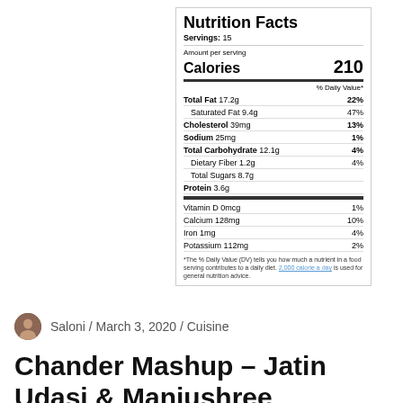| Nutrition Facts |  |
| Servings: 15 |  |
| Amount per serving |  |
| Calories | 210 |
| % Daily Value* |  |
| Total Fat 17.2g | 22% |
| Saturated Fat 9.4g | 47% |
| Cholesterol 39mg | 13% |
| Sodium 25mg | 1% |
| Total Carbohydrate 12.1g | 4% |
| Dietary Fiber 1.2g | 4% |
| Total Sugars 8.7g |  |
| Protein 3.6g |  |
| Vitamin D 0mcg | 1% |
| Calcium 128mg | 10% |
| Iron 1mg | 4% |
| Potassium 112mg | 2% |
| *The % Daily Value (DV) tells you how much a nutrient in a food serving contributes to a daily diet. 2,000 calorie a day is used for general nutrition advice. |  |
Saloni / March 3, 2020 / Cuisine
Chander Mashup – Jatin Udasi & Manjushree